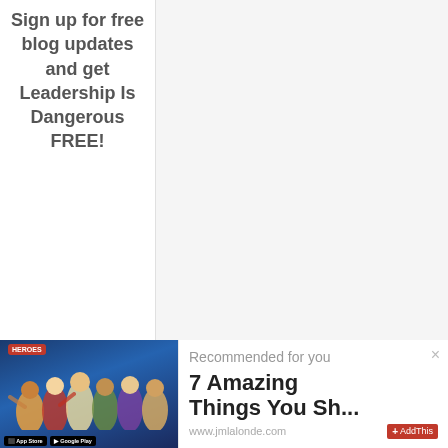Sign up for free blog updates and get Leadership Is Dangerous FREE!
[Figure (illustration): Book cover for 'Leadership Is Dangerous' with spine and cover art]
[Figure (illustration): Heroes of the Bible illustrated scene with multiple figures, app store badges]
Recommended for you
7 Amazing Things You Sh...
www.jmlalonde.com
AddThis